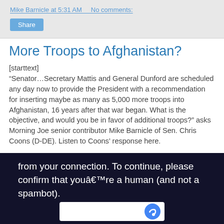Mike Barnicle at 5:31 AM    No comments:
Share
More Troops to Afghanistan?
[starttext]
“Senator…Secretary Mattis and General Dunford are scheduled any day now to provide the President with a recommendation for inserting maybe as many as 5,000 more troops into Afghanistan, 16 years after that war began. What is the objective, and would you be in favor of additional troops?” asks Morning Joe senior contributor Mike Barnicle of Sen. Chris Coons (D-DE). Listen to Coons’ response here.
from your connection. To continue, please confirm that youâ€™re a human (and not a spambot).